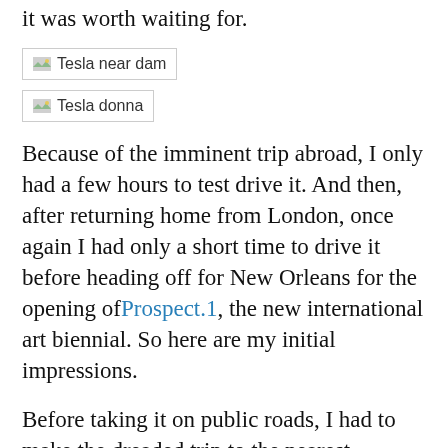it was worth waiting for.
[Figure (photo): Image placeholder labeled 'Tesla near dam']
[Figure (photo): Image placeholder labeled 'Tesla donna']
Because of the imminent trip abroad, I only had a few hours to test drive it. And then, after returning home from London, once again I had only a short time to drive it before heading off for New Orleans for the opening of Prospect.1, the new international art biennial. So here are my initial impressions.
Before taking it on public roads, I had to make the dreaded trip to the nearest Connecticut Department of Motor Vehicles office to get license plates. What a contrast that was – registering a 21st-century automobile with a 19th-century government process